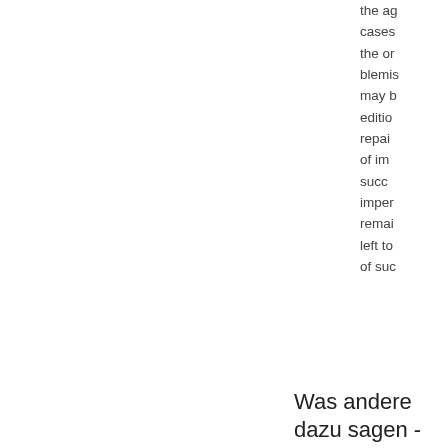the ag cases the or blemis may b editio repai of im succ impe remai left to of suc
Was andere dazu sagen - Rezension schreiben
Es wurden keine Rezensionen gefunden.